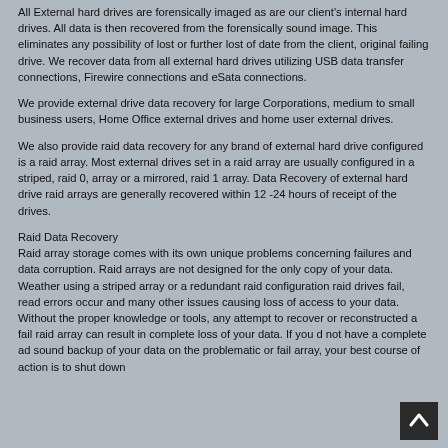All External hard drives are forensically imaged as are our client's internal hard drives. All data is then recovered from the forensically sound image. This eliminates any possibility of lost or further lost of date from the client, original failing drive. We recover data from all external hard drives utilizing USB data transfer connections, Firewire connections and eSata connections.
We provide external drive data recovery for large Corporations, medium to small business users, Home Office external drives and home user external drives.
We also provide raid data recovery for any brand of external hard drive configured is a raid array. Most external drives set in a raid array are usually configured in a striped, raid 0, array or a mirrored, raid 1 array. Data Recovery of external hard drive raid arrays are generally recovered within 12 -24 hours of receipt of the drives.
Raid Data Recovery
Raid array storage comes with its own unique problems concerning failures and data corruption. Raid arrays are not designed for the only copy of your data. Weather using a striped array or a redundant raid configuration raid drives fail, read errors occur and many other issues causing loss of access to your data. Without the proper knowledge or tools, any attempt to recover or reconstructed a fail raid array can result in complete loss of your data. If you d not have a complete ad sound backup of your data on the problematic or fail array, your best course of action is to shut down